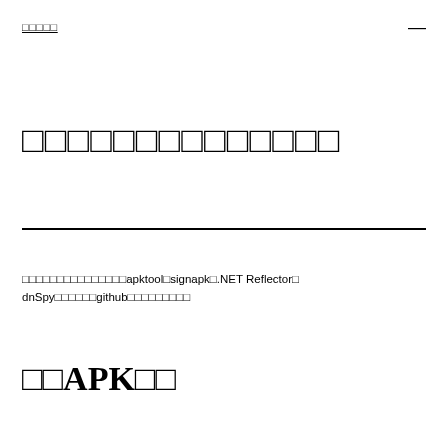□□□□□
□□□□□□□□□□□□□□
□□□□□□□□□□□□□□□apktool□signapk□.NET Reflector□dnSpy□□□□□□github□□□□□□□□□
□□APK□□